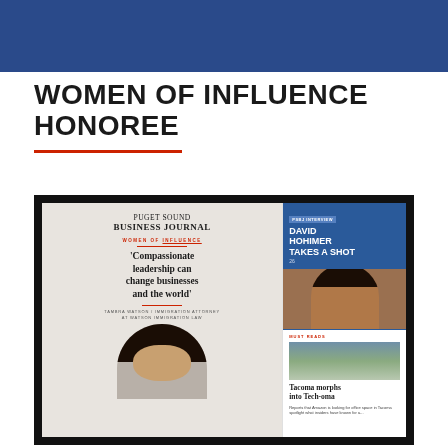WOMEN OF INFLUENCE HONOREE
[Figure (screenshot): Screenshot of Puget Sound Business Journal Women of Influence feature page showing article titled 'Compassionate leadership can change businesses and the world' by Tambra Watson, Immigration Attorney at Watson Immigration Law, alongside a sidebar featuring David Hohimer and a 'Must Reads' section about Tacoma morphing into Tech-oma.]